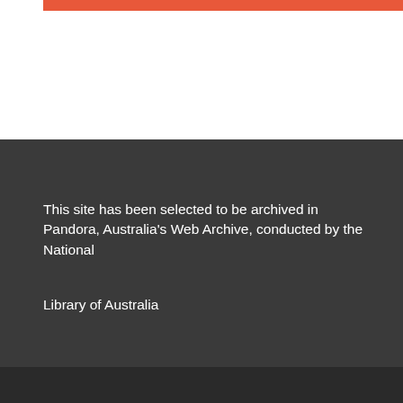This site has been selected to be archived in Pandora, Australia's Web Archive, conducted by the National Library of Australia